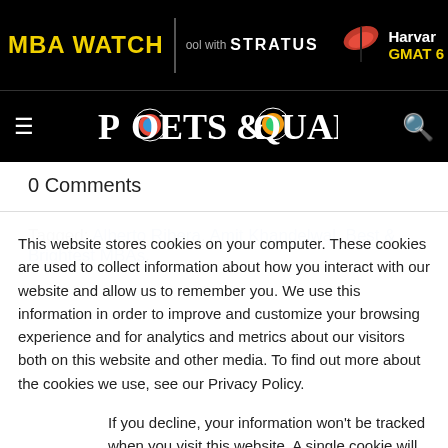MBA WATCH | ool with STRATUS | Harvar GMAT 6
[Figure (logo): Poets & Quants logo with hamburger menu and search icon on black navigation bar]
0 Comments
Tagged: Alberto Ribera, Amit Khandelwal, Best & Brightest MBAs,
This website stores cookies on your computer. These cookies are used to collect information about how you interact with our website and allow us to remember you. We use this information in order to improve and customize your browsing experience and for analytics and metrics about our visitors both on this website and other media. To find out more about the cookies we use, see our Privacy Policy.
If you decline, your information won't be tracked when you visit this website. A single cookie will be used in your browser to remember your preference not to be tracked.
Accept | Decline